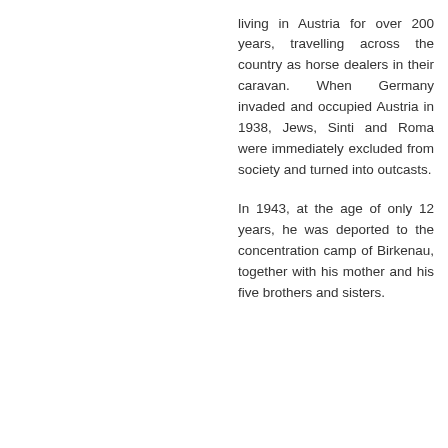living in Austria for over 200 years, travelling across the country as horse dealers in their caravan. When Germany invaded and occupied Austria in 1938, Jews, Sinti and Roma were immediately excluded from society and turned into outcasts.

In 1943, at the age of only 12 years, he was deported to the concentration camp of Birkenau, together with his mother and his five brothers and sisters.